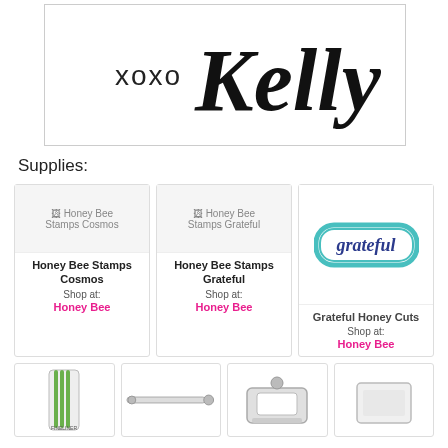[Figure (illustration): Handwritten signature reading 'xoxo Kelly' in script font on white background, inside a bordered box.]
Supplies:
[Figure (photo): Product image placeholder for Honey Bee Stamps Cosmos]
Honey Bee Stamps Cosmos
Shop at:
Honey Bee
[Figure (photo): Product image placeholder for Honey Bee Stamps Grateful]
Honey Bee Stamps Grateful
Shop at:
Honey Bee
[Figure (photo): Product image showing 'grateful' die cut with teal border on white background]
Grateful Honey Cuts
Shop at:
Honey Bee
[Figure (photo): Product image showing green marker/pen product packaging]
[Figure (photo): Product image showing a white tool/stylus]
[Figure (photo): Product image showing a die cutting machine]
[Figure (photo): Product image placeholder (partial, bottom right)]